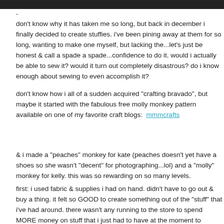[Figure (photo): Dark image bar at top of page]
-
don't know why it has taken me so long, but back in december i finally decided to create stuffies.  i've been pining away at them for so long, wanting to make one myself, but lacking the...let's just be honest & call a spade a spade...confidence to do it.  would i actually be able to sew it?  would it turn out completely disastrous?  do i know enough about sewing to even accomplish it?
don't know how i all of a sudden acquired "crafting bravado", but maybe it started with the fabulous free molly monkey pattern available on one of my favorite craft blogs:  mmmcrafts
& i made a "peaches" monkey for kate (peaches doesn't yet have a shoes so she wasn't "decent" for photographing...lol) and a "molly" monkey for kelly.  this was so rewarding on so many levels.
first:  i used fabric & supplies i had on hand.  didn't have to go out & buy a thing.  it felt so GOOD to create something out of the "stuff" that i've had around.  there wasn't any running to the store to spend MORE money on stuff that i just had to have at the moment to complete a project & then ha